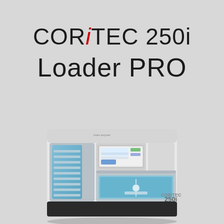CORiTEC 250i Loader PRO
[Figure (photo): CORiTEC 250i Loader PRO milling machine — white/grey dental CAD/CAM milling unit with a blue-lit disc storage magazine on the left, a touchscreen display in the center-top, and a blue-lit milling chamber in the lower center. The machine sits on a black base. The brand label '250i' is visible on the lower right of the machine front.]